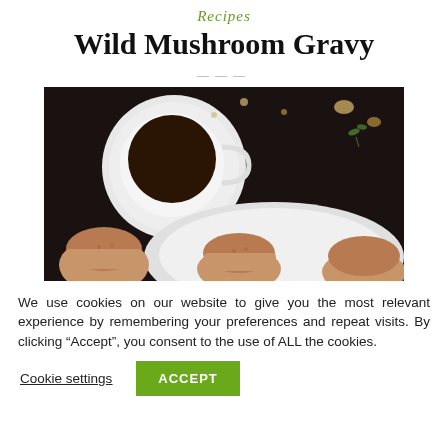Recipes
Wild Mushroom Gravy
[Figure (photo): Overhead dark background food photo showing a white cup of dark liquid (gravy/coffee), a white plate, and several muffin-like baked goods]
We use cookies on our website to give you the most relevant experience by remembering your preferences and repeat visits. By clicking “Accept”, you consent to the use of ALL the cookies.
Cookie settings | ACCEPT